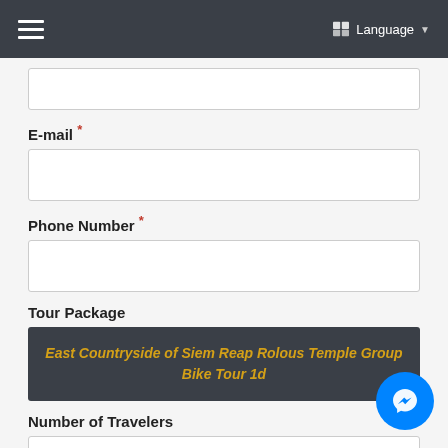Language
E-mail *
Phone Number *
Tour Package
East Countryside of Siem Reap Rolous Temple Group Bike Tour 1d
Number of Travelers
Prefered Dates